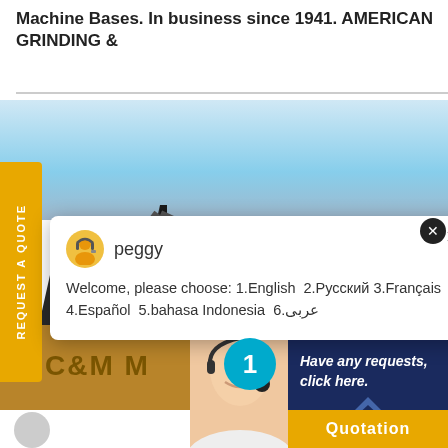Machine Bases. In business since 1941. AMERICAN GRINDING &
[Figure (screenshot): Screenshot of a website showing industrial machinery (C&M M...) with a chat popup featuring an agent named 'peggy', a yellow sidebar with 'REQUEST A QUOTE', a customer service panel with 'Have any requests, click here.' and a 'Quotation' button, plus a notification badge showing '1'.]
peggy
Welcome, please choose: 1.English  2.Русский 3.Français  4.Español  5.bahasa Indonesia  6.عربى
REQUEST A QUOTE
C&M M
Have any requests, click here.
Quotation